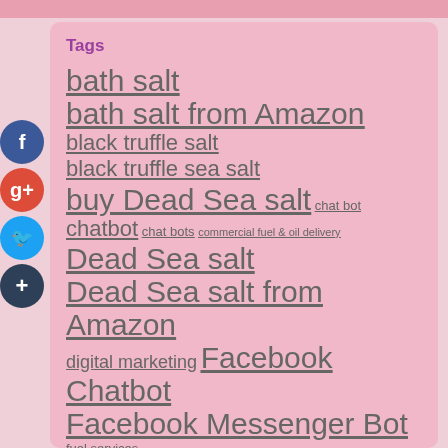Tags
bath salt
bath salt from Amazon
black truffle salt
black truffle sea salt
buy Dead Sea salt
chat bot
chatbot
chat bots
commercial fuel & oil delivery
Dead Sea salt
Dead Sea salt from Amazon
digital marketing
Facebook Chatbot
Facebook Messenger Bot
fuel services
Himalayan pink salt
Himalayan salt
instagram bot
led strip
Messenger Bot